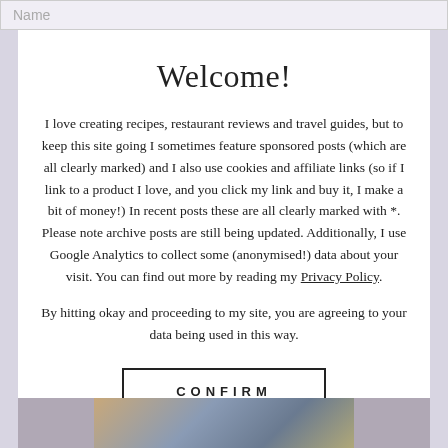Name
Welcome!
I love creating recipes, restaurant reviews and travel guides, but to keep this site going I sometimes feature sponsored posts (which are all clearly marked) and I also use cookies and affiliate links (so if I link to a product I love, and you click my link and buy it, I make a bit of money!) In recent posts these are all clearly marked with *. Please note archive posts are still being updated. Additionally, I use Google Analytics to collect some (anonymised!) data about your visit. You can find out more by reading my Privacy Policy.
By hitting okay and proceeding to my site, you are agreeing to your data being used in this way.
CONFIRM
[Figure (photo): Food photograph partially visible at the bottom of the page]